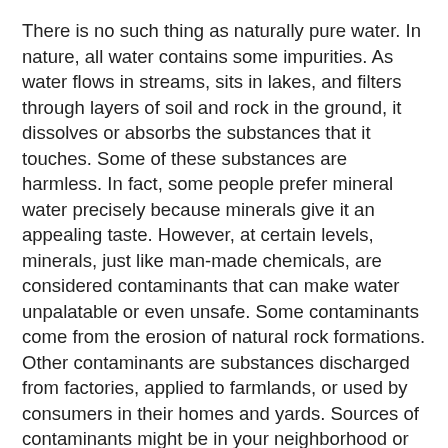There is no such thing as naturally pure water. In nature, all water contains some impurities. As water flows in streams, sits in lakes, and filters through layers of soil and rock in the ground, it dissolves or absorbs the substances that it touches. Some of these substances are harmless. In fact, some people prefer mineral water precisely because minerals give it an appealing taste. However, at certain levels, minerals, just like man-made chemicals, are considered contaminants that can make water unpalatable or even unsafe. Some contaminants come from the erosion of natural rock formations. Other contaminants are substances discharged from factories, applied to farmlands, or used by consumers in their homes and yards. Sources of contaminants might be in your neighborhood or might be many miles away. Your local water quality report tells which contaminants are in your drinking water, the levels at which they were found, and the actual or likely source of each contaminant. Some ground water systems have established wellhead protection programs to prevent substances from contaminating their wells. Similarly, some surface-water systems protect the watershed around their reservoir to